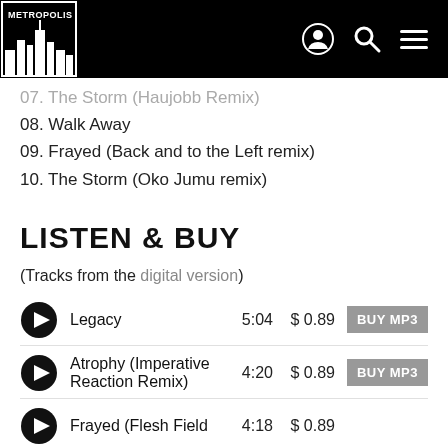[Figure (logo): Metropolis Records logo in white on black background]
07. The Storm (Haujobb Remix)
08. Walk Away
09. Frayed (Back and to the Left remix)
10. The Storm (Oko Jumu remix)
LISTEN & BUY
(Tracks from the digital version)
Legacy  5:04  $ 0.89  BUY MP3
Atrophy (Imperative Reaction Remix)  4:20  $ 0.89  BUY MP3
Frayed (Flesh Field  4:18  $ 0.89